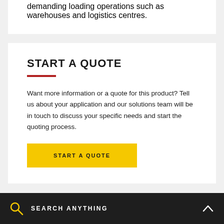demanding loading operations such as warehouses and logistics centres.
START A QUOTE
Want more information or a quote for this product? Tell us about your application and our solutions team will be in touch to discuss your specific needs and start the quoting process.
START A QUOTE
SEARCH ANYTHING